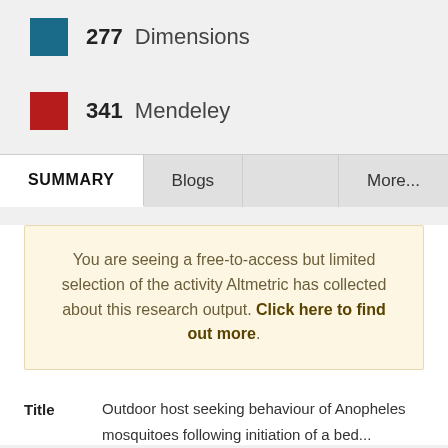277 Dimensions
341 Mendeley
SUMMARY
Blogs
More...
You are seeing a free-to-access but limited selection of the activity Altmetric has collected about this research output. Click here to find out more.
Title  Outdoor host seeking behaviour of Anopheles mosquitoes following initiation of a bed...